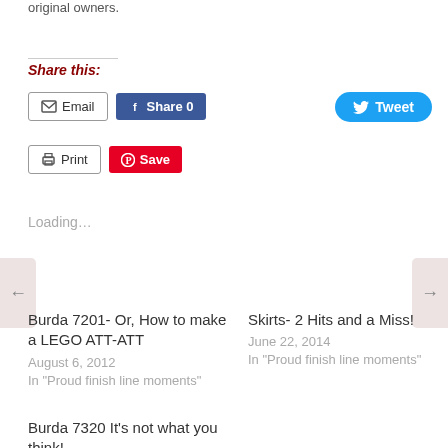original owners.
Share this:
[Figure (screenshot): Share buttons row: Email, Share 0 (Facebook), Tweet (Twitter)]
[Figure (screenshot): Share buttons row 2: Print, Save (Pinterest)]
Loading...
Burda 7201- Or, How to make a LEGO ATT-ATT
August 6, 2012
In "Proud finish line moments"
Skirts- 2 Hits and a Miss!
June 22, 2014
In "Proud finish line moments"
Burda 7320 It's not what you think!